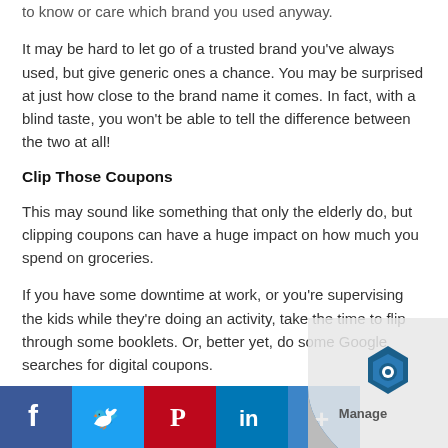to know or care which brand you used anyway.
It may be hard to let go of a trusted brand you've always used, but give generic ones a chance. You may be surprised at just how close to the brand name it comes. In fact, with a blind taste, you won't be able to tell the difference between the two at all!
Clip Those Coupons
This may sound like something that only the elderly do, but clipping coupons can have a huge impact on how much you spend on groceries.
If you have some downtime at work, or you're supervising the kids while they're doing an activity, take the time to flip through some booklets. Or, better yet, do some Google searches for digital coupons.
Whatever method you prefer, it's always worth ta... loop... Manufacturers are alwa... offering discounts...